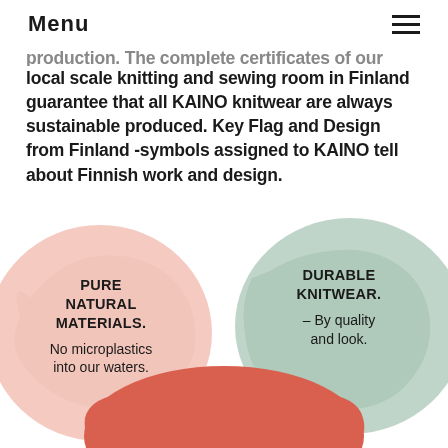Menu
production. The complete certificates of our yarns as well as the local scale knitting and sewing room in Finland guarantee that all KAINO knitwear are always sustainable produced. Key Flag and Design from Finland -symbols assigned to KAINO tell about Finnish work and design.
[Figure (infographic): Three blob/circle shapes: a pink blob on the left labeled 'PURE NATURAL MATERIALS. No microplastics into our waters.', a sage/green blob on the right labeled 'DURABLE KNITWEAR. – By quality and look.', and a red/coral blob at the bottom center (partially visible).]